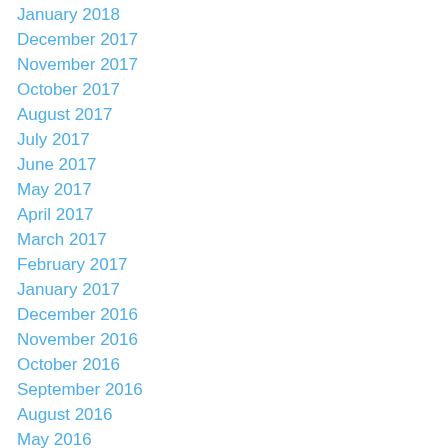January 2018
December 2017
November 2017
October 2017
August 2017
July 2017
June 2017
May 2017
April 2017
March 2017
February 2017
January 2017
December 2016
November 2016
October 2016
September 2016
August 2016
May 2016
April 2016
March 2016